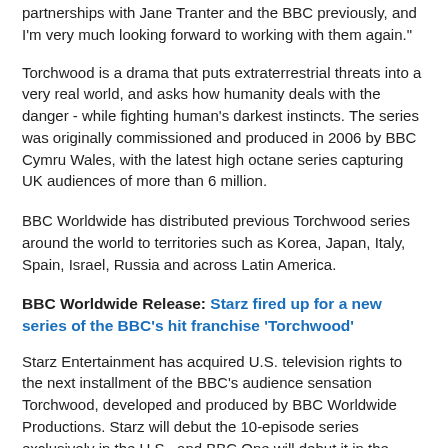partnerships with Jane Tranter and the BBC previously, and I'm very much looking forward to working with them again."
Torchwood is a drama that puts extraterrestrial threats into a very real world, and asks how humanity deals with the danger - while fighting human's darkest instincts. The series was originally commissioned and produced in 2006 by BBC Cymru Wales, with the latest high octane series capturing UK audiences of more than 6 million.
BBC Worldwide has distributed previous Torchwood series around the world to territories such as Korea, Japan, Italy, Spain, Israel, Russia and across Latin America.
BBC Worldwide Release: Starz fired up for a new series of the BBC's hit franchise 'Torchwood'
Starz Entertainment has acquired U.S. television rights to the next installment of the BBC's audience sensation Torchwood, developed and produced by BBC Worldwide Productions. Starz will debut the 10-episode series exclusively in the U.S., and BBC One will debut it in the U.K., both in summer, 2011. This is a co-production between Starz, BBC, Starz Media...